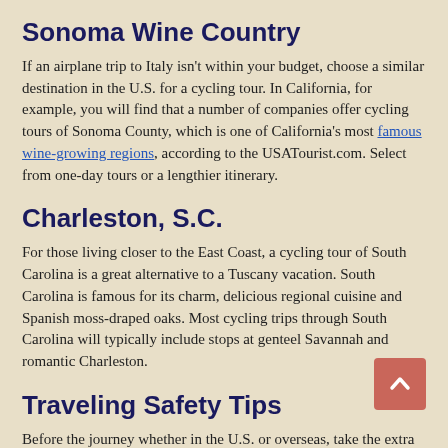Sonoma Wine Country
If an airplane trip to Italy isn't within your budget, choose a similar destination in the U.S. for a cycling tour. In California, for example, you will find that a number of companies offer cycling tours of Sonoma County, which is one of California's most famous wine-growing regions, according to the USATourist.com. Select from one-day tours or a lengthier itinerary.
Charleston, S.C.
For those living closer to the East Coast, a cycling tour of South Carolina is a great alternative to a Tuscany vacation. South Carolina is famous for its charm, delicious regional cuisine and Spanish moss-draped oaks. Most cycling trips through South Carolina will typically include stops at genteel Savannah and romantic Charleston.
Traveling Safety Tips
Before the journey whether in the U.S. or overseas, take the extra steps to keep your home from looking like an easy target. Leave